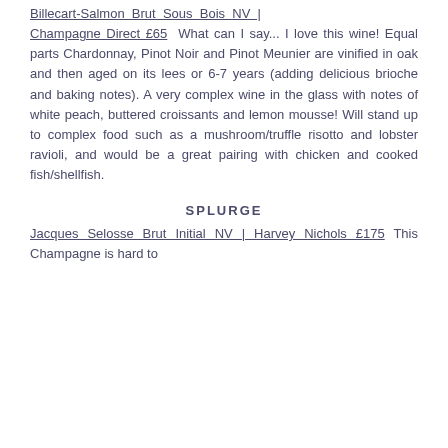Billecart-Salmon Brut Sous Bois NV | Champagne Direct £65  What can I say... I love this wine! Equal parts Chardonnay, Pinot Noir and Pinot Meunier are vinified in oak and then aged on its lees or 6-7 years (adding delicious brioche and baking notes). A very complex wine in the glass with notes of white peach, buttered croissants and lemon mousse! Will stand up to complex food such as a mushroom/truffle risotto and lobster ravioli, and would be a great pairing with chicken and cooked fish/shellfish.
SPLURGE
Jacques Selosse Brut Initial NV | Harvey Nichols £175  This Champagne is hard to